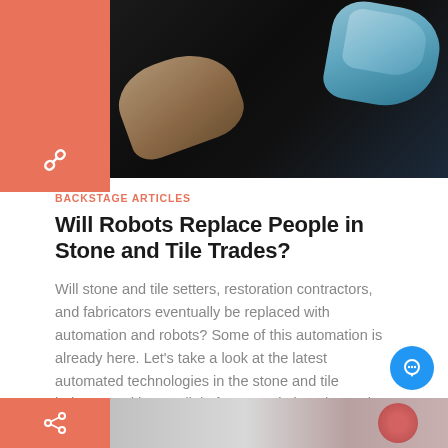[Figure (photo): Photo showing a human hand and a blue robotic/mechanical hand reaching toward each other against a dark background]
BACKSTAGE ARTICLES
Will Robots Replace People in Stone and Tile Trades?
Will stone and tile setters, restoration contractors, and fabricators eventually be replaced with automation and robots? Some of this automation is already here. Let's take a look at the latest automated technologies in the stone and tile industry and have a little fun speculating about what might come next.   Read More ↳
[Figure (photo): Partial thumbnail of another article at the bottom of the page, showing a red circular element on gray background with an orange sidebar icon]